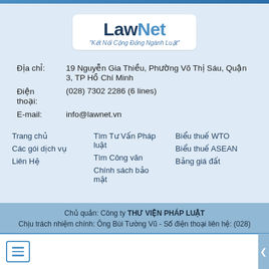[Figure (logo): LawNet logo with tagline 'Kết Nối Cộng Đồng Ngành Luật']
Địa chỉ: 19 Nguyễn Gia Thiều, Phường Võ Thị Sáu, Quận 3, TP Hồ Chí Minh
Điện thoại: (028) 7302 2286 (6 lines)
E-mail: info@lawnet.vn
Trang chủ
Các gói dịch vụ
Liên Hệ
Tìm Tư Vấn Pháp luật
Tìm Công văn
Chính sách bảo mật
Biểu thuế WTO
Biểu thuế ASEAN
Bảng giá đất
Chủ quản: Công ty THƯ VIỆN PHÁP LUẬT
Chịu trách nhiệm chính: Ông Bùi Tường Vũ - Số điện thoại liên hệ: (028)